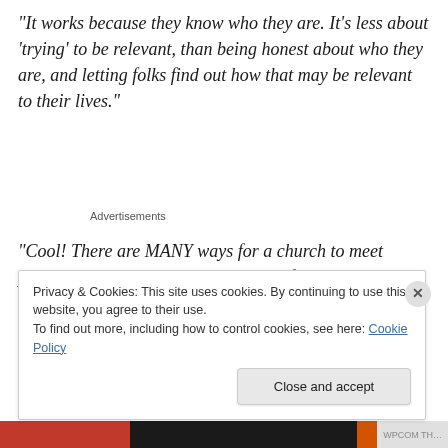“It works because they know who they are. It’s less about ‘trying’ to be relevant, than being honest about who they are, and letting folks find out how that may be relevant to their lives.”
Advertisements
“Cool! There are MANY ways for a church to meet people’s spiritual needs… I just can’t figure out why too many churches think mediocrity works. Excellence and
Privacy & Cookies: This site uses cookies. By continuing to use this website, you agree to their use.
To find out more, including how to control cookies, see here: Cookie Policy